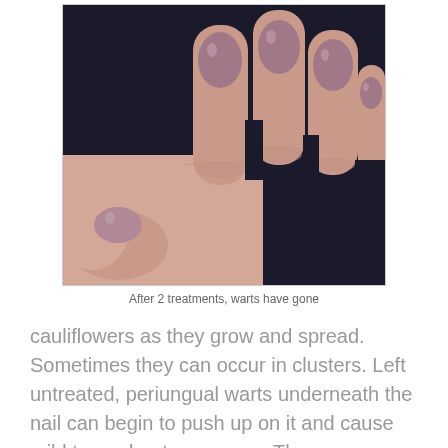[Figure (photo): Close-up photo of a hand with fingernails painted in a mauve/pink color, showing nails after wart treatment against a dark background.]
After 2 treatments, warts have gone
cauliflowers as they grow and spread. Sometimes they can occur in clusters.  Left untreated, periungual warts underneath the nail can begin to push up on it and cause mild to moderate pressure. The pressure becomes painful if the nail experiences even the lightest touch. Should these warts grows large enough, its size could even cause the nail to